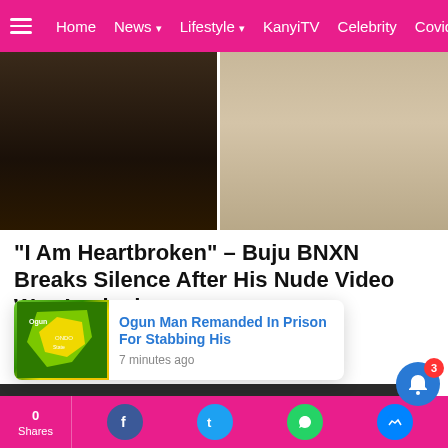Home  News  Lifestyle  KanyiTV  Celebrity  Covid19
[Figure (photo): Two side-by-side cropped photos: left is a dark portrait, right is a person in a plaid blazer]
“I Am Heartbroken” – Buju BNXN Breaks Silence After His Nude Video Was Leaked
by Tobias Sylvester
a day ago
[Figure (photo): Black and white group photo of multiple people, with a play button overlay and X close button]
[Figure (photo): Popup card: Ogun Man Remanded In Prison For Stabbing His - thumbnail of a map - 7 minutes ago]
Shares  [Facebook] [Twitter] [WhatsApp] [Messenger]